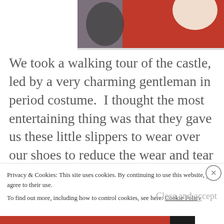[Figure (photo): Top portion of a photo showing red and dark colored background, partial view of a scene inside a castle or similar venue]
We took a walking tour of the castle, led by a very charming gentleman in period costume.  I thought the most entertaining thing was that they gave us these little slippers to wear over our shoes to reduce the wear and tear of the castle floors.  One of our guides remarked that
Privacy & Cookies: This site uses cookies. By continuing to use this website, you agree to their use.
To find out more, including how to control cookies, see here: Cookie Policy
Close and accept